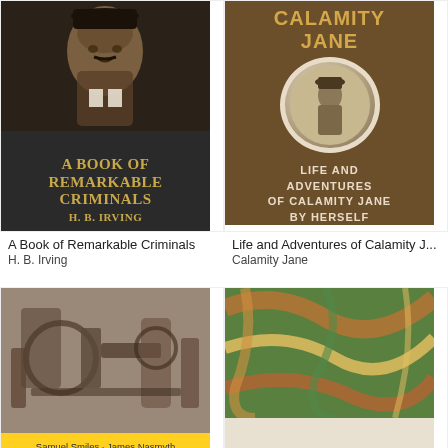[Figure (photo): Book cover of 'A Book of Remarkable Criminals' by H. B. Irving — dark background with a man's portrait photo and gold lettered title]
A Book of Remarkable Criminals
H. B. Irving
[Figure (photo): Book cover of 'Life and Adventures of Calamity Jane by Herself' — brown burlap-style cover with circular portrait and gold/cream text]
Life and Adventures of Calamity J...
Calamity Jane
[Figure (photo): Book cover showing industrial machinery on top half and yellow bottom half — by Samuel Smiles, James Nasmyth]
[Figure (photo): Book cover of 'Brann The Iconoclast. Vol I' — marbled paper top half, cream bottom half with title text]